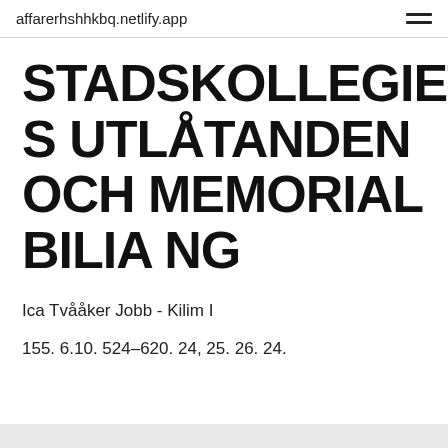affarerhshhkbq.netlify.app
STADSKOLLEGIETS UTLÅTANDEN OCH MEMORIALBILIA NG
Ica Tvååker Jobb - Kilim I
155. 6.10. 524–620. 24, 25. 26. 24.